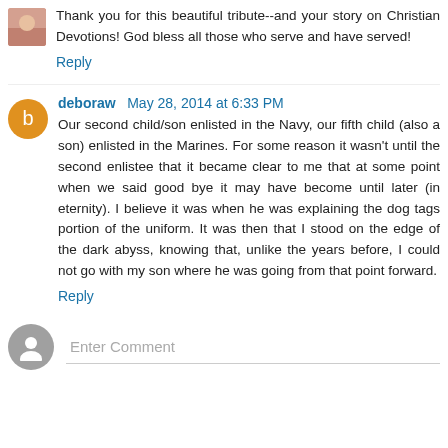Thank you for this beautiful tribute--and your story on Christian Devotions! God bless all those who serve and have served!
Reply
deboraw  May 28, 2014 at 6:33 PM
Our second child/son enlisted in the Navy, our fifth child (also a son) enlisted in the Marines. For some reason it wasn't until the second enlistee that it became clear to me that at some point when we said good bye it may have become until later (in eternity). I believe it was when he was explaining the dog tags portion of the uniform. It was then that I stood on the edge of the dark abyss, knowing that, unlike the years before, I could not go with my son where he was going from that point forward.
Reply
Enter Comment